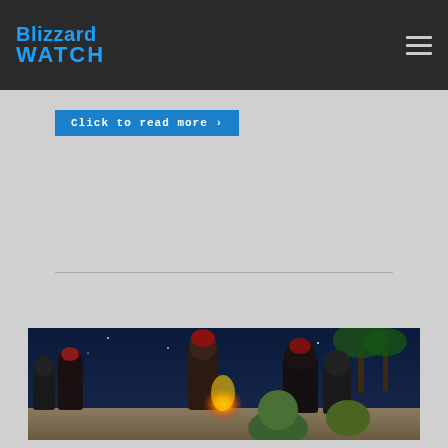Blizzard Watch
Click to read more >
[Figure (screenshot): World of Warcraft screenshot showing troll/orc characters gathered around a fire on a tropical beach at night with palm trees in the background]